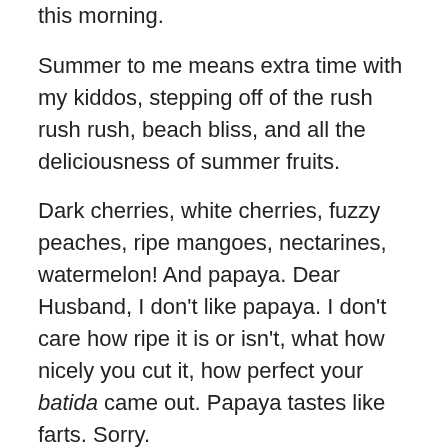this morning.
Summer to me means extra time with my kiddos, stepping off of the rush rush rush, beach bliss, and all the deliciousness of summer fruits.
Dark cherries, white cherries, fuzzy peaches, ripe mangoes, nectarines, watermelon!  And papaya.  Dear Husband, I don't like papaya.  I don't care how ripe it is or isn't, what how nicely you cut it, how perfect your batida came out.  Papaya tastes like farts.  Sorry.
The feel of the sun on my skin.   The scent of cocoa butter.  (Hey, I have dry skin, ok?) Flower Child's glee on the beach, wind blowing, waves breaking, entrepreneurs with carts and Hefty bags plodding through the sand with an ocean wet towel draped over their head, “Cold Water HE-ah! ColdWater, ColdSoda, Cold Boooor!. If you don't drink